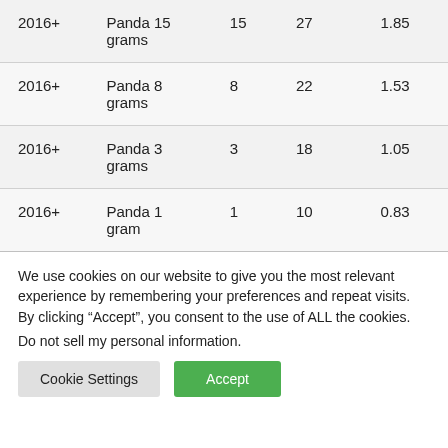| 2016+ | Panda 15 grams | 15 | 27 | 1.85 |
| 2016+ | Panda 8 grams | 8 | 22 | 1.53 |
| 2016+ | Panda 3 grams | 3 | 18 | 1.05 |
| 2016+ | Panda 1 gram | 1 | 10 | 0.83 |
We use cookies on our website to give you the most relevant experience by remembering your preferences and repeat visits. By clicking “Accept”, you consent to the use of ALL the cookies.
Do not sell my personal information.